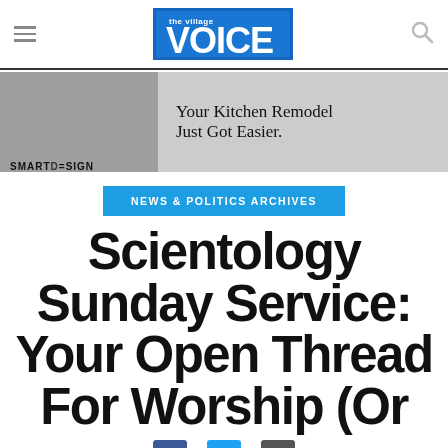the village VOICE
[Figure (photo): Advertisement banner: SMARTDESIGN kitchen remodel ad with text 'Your Kitchen Remodel Just Got Easier.']
NEWS & POLITICS ARCHIVES
Scientology Sunday Service: Your Open Thread For Worship (Or
[Figure (other): Social sharing icons: Facebook, Twitter, Email]